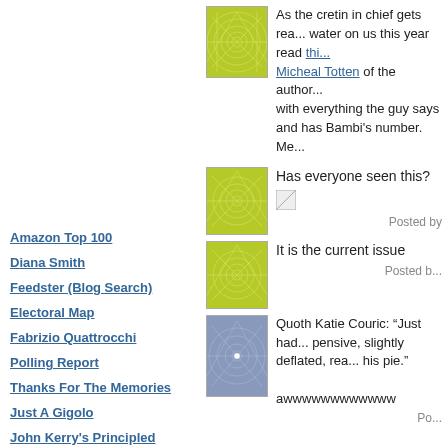Amazon Top 100
Diana Smith
Feedster (Blog Search)
Electoral Map
Fabrizio Quattrocchi
Polling Report
Thanks For The Memories
Just A Gigolo
John Kerry's Principled Positions
CIA Fact Book
Economist Countries
Google - Site
TypePad
Google
As the cretin in chief gets rea... water on us this year read thi... Micheal Totten of the author... with everything the guy says and has Bambi's number. Me...
Has everyone seen this?
Posted by
It is the current issue
Posted b...
Quoth Katie Couric: “Just had... pensive, slightly deflated, rea... his pie.”

awwwwwwwwwwww
Po...